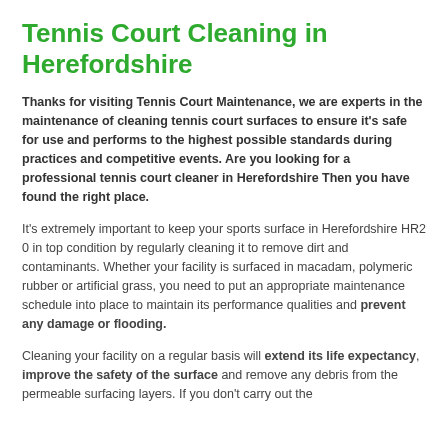Tennis Court Cleaning in Herefordshire
Thanks for visiting Tennis Court Maintenance, we are experts in the maintenance of cleaning tennis court surfaces to ensure it's safe for use and performs to the highest possible standards during practices and competitive events. Are you looking for a professional tennis court cleaner in Herefordshire Then you have found the right place.
It's extremely important to keep your sports surface in Herefordshire HR2 0 in top condition by regularly cleaning it to remove dirt and contaminants. Whether your facility is surfaced in macadam, polymeric rubber or artificial grass, you need to put an appropriate maintenance schedule into place to maintain its performance qualities and prevent any damage or flooding.
Cleaning your facility on a regular basis will extend its life expectancy, improve the safety of the surface and remove any debris from the permeable surfacing layers. If you don't carry out the...